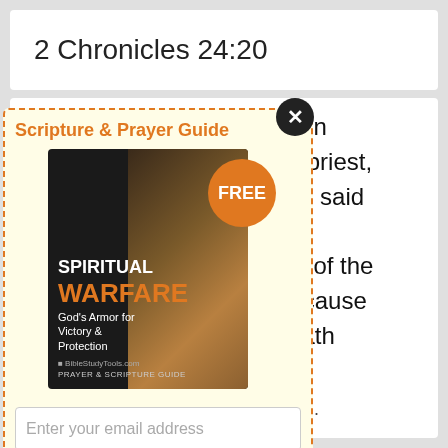2 Chronicles 24:20
d came upon hoiada the priest, people, and said God, Why nandments of the rosper? because ORD, he hath
[Figure (screenshot): Popup modal for Scripture & Prayer Guide - Spiritual Warfare book with FREE badge, email signup field, Get My Copy button, and fine print about BibleStudyTools]
e public domain.